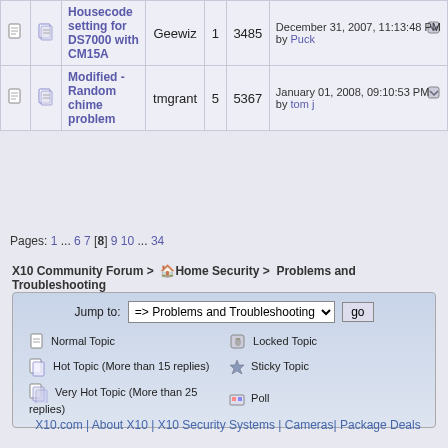|  |  | Topic | Started by | Replies | Views | Last post |
| --- | --- | --- | --- | --- | --- | --- |
|  |  | Housecode setting for DS7000 with CM15A | Geewiz | 1 | 3485 | December 31, 2007, 11:13:48 PM by Puck |
|  |  | Modified - Random chime problem | tmgrant | 5 | 5367 | January 01, 2008, 09:10:53 PM by tom j |
Pages: 1 ... 6 7 [8] 9 10 ... 34
X10 Community Forum > Home Security > Problems and Troubleshooting
Jump to: => Problems and Troubleshooting  go
Normal Topic
Hot Topic (More than 15 replies)
Very Hot Topic (More than 25 replies)
Locked Topic
Sticky Topic
Poll
X10.com | About X10 | X10 Security Systems | Cameras | Package Deals